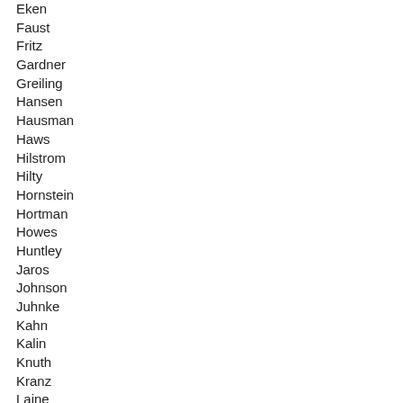Eken
Faust
Fritz
Gardner
Greiling
Hansen
Hausman
Haws
Hilstrom
Hilty
Hornstein
Hortman
Howes
Huntley
Jaros
Johnson
Juhnke
Kahn
Kalin
Knuth
Kranz
Laine
Lenczewski
Lesch
Liebling
Lieder
Lillie
Loeffler
Madore
Mahoney